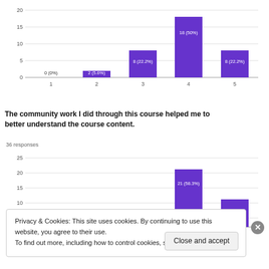[Figure (bar-chart): Bar chart 1]
The community work I did through this course helped me to better understand the course content.
36 responses
[Figure (bar-chart): Bar chart 2]
Privacy & Cookies: This site uses cookies. By continuing to use this website, you agree to their use.
To find out more, including how to control cookies, see here: Cookie Policy